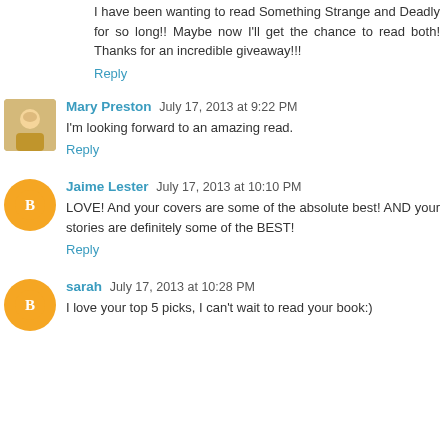I have been wanting to read Something Strange and Deadly for so long!! Maybe now I'll get the chance to read both! Thanks for an incredible giveaway!!!
Reply
Mary Preston  July 17, 2013 at 9:22 PM
I'm looking forward to an amazing read.
Reply
Jaime Lester  July 17, 2013 at 10:10 PM
LOVE! And your covers are some of the absolute best! AND your stories are definitely some of the BEST!
Reply
sarah  July 17, 2013 at 10:28 PM
I love your top 5 picks, I can't wait to read your book:)